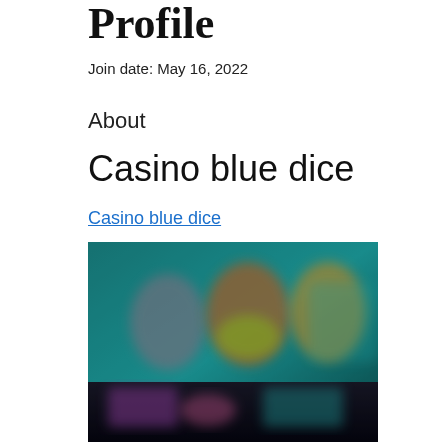Profile
Join date: May 16, 2022
About
Casino blue dice
Casino blue dice
[Figure (photo): Blurred screenshot of a casino games interface showing colorful game thumbnails with characters on a dark teal background.]